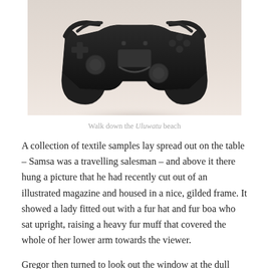[Figure (photo): Black and white/sepia photo of a game controller (PlayStation-style) resting on a light surface, viewed from slightly above and front. The controller is dark/black and centered in the frame.]
Walk down the Uluwatu beach
A collection of textile samples lay spread out on the table – Samsa was a travelling salesman – and above it there hung a picture that he had recently cut out of an illustrated magazine and housed in a nice, gilded frame. It showed a lady fitted out with a fur hat and fur boa who sat upright, raising a heavy fur muff that covered the whole of her lower arm towards the viewer.
Gregor then turned to look out the window at the dull weather. Drops of rain could be heard hitting the pane, which